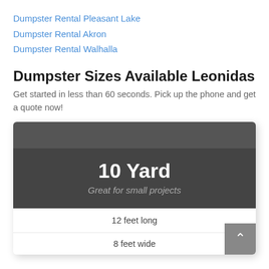Dumpster Rental Pleasant Lake
Dumpster Rental Akron
Dumpster Rental Walhalla
Dumpster Sizes Available Leonidas
Get started in less than 60 seconds. Pick up the phone and get a quote now!
[Figure (infographic): A dark gray card/widget showing a 10 Yard dumpster option. Top section is darker gray header bar, middle section shows '10 Yard' in large white bold text with italic gray subtitle 'Great for small projects'. Bottom white section shows '12 feet long' row and '8 feet wide' row separated by a horizontal line. A gray scroll-to-top button with a caret/arrow sits in the bottom-right corner.]